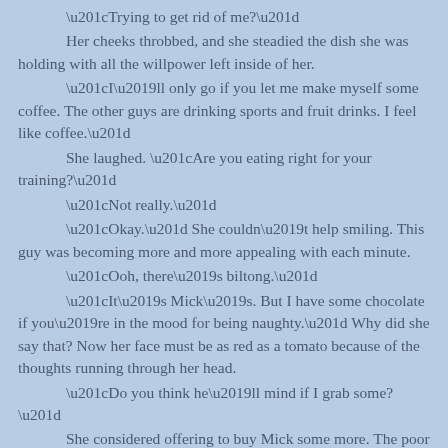“Trying to get rid of me?” Her cheeks throbbed, and she steadied the dish she was holding with all the willpower left inside of her. “I’ll only go if you let me make myself some coffee. The other guys are drinking sports and fruit drinks. I feel like coffee.” She laughed. “Are you eating right for your training?” “Not really.” “Okay.” She couldn’t help smiling. This guy was becoming more and more appealing with each minute. “Ooh, there’s biltong.” “It’s Mick’s. But I have some chocolate if you’re in the mood for being naughty.” Why did she say that? Now her face must be as red as a tomato because of the thoughts running through her head. “Do you think he’ll mind if I grab some?” She considered offering to buy Mick some more. The poor guy was starved. “What exactly did my brother buy for you all tonight?” “Chicken salad.” The face he pulled forced a strange